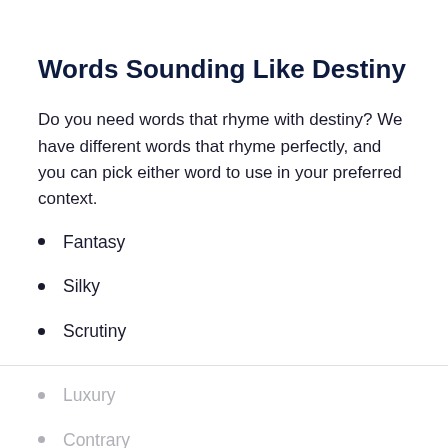Words Sounding Like Destiny
Do you need words that rhyme with destiny? We have different words that rhyme perfectly, and you can pick either word to use in your preferred context.
Fantasy
Silky
Scrutiny
Luxury
Contrary